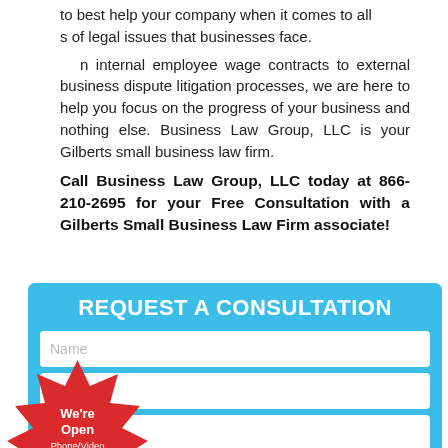to best help your company when it comes to all s of legal issues that businesses face.
n internal employee wage contracts to external business dispute litigation processes, we are here to help you focus on the progress of your business and nothing else. Business Law Group, LLC is your Gilberts small business law firm.
Call Business Law Group, LLC today at 866-210-2695 for your Free Consultation with a Gilberts Small Business Law Firm associate!
[Figure (infographic): Blue consultation request form with fields for Name, Email, Phone, and Message, overlaid with a red starburst badge reading 'We're Open Phone/Video Consultations Available']
REQUEST A CONSULTATION